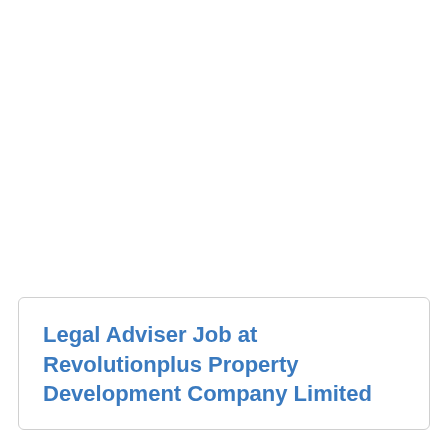Legal Adviser Job at Revolutionplus Property Development Company Limited